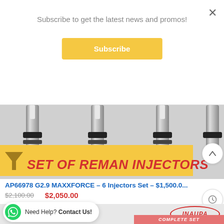Subscribe to get the latest news and promos!
Subscribe
×
[Figure (photo): Photo of fuel injectors (metallic cylindrical parts) from top view, with yellow banner overlay reading SET OF REMAN INJECTORS in red italic bold text]
AP66978 G2.9 MAXXFORCE – 6 Injectors Set – $1,500.0...
$2,100.00  $2,050.00
[Figure (photo): Bottom section showing product thumbnails: left shows injector with -2% badge, center shows injector, right shows INAUPA branded injector set with COMPLETE SET red banner]
Need Help? Contact Us!